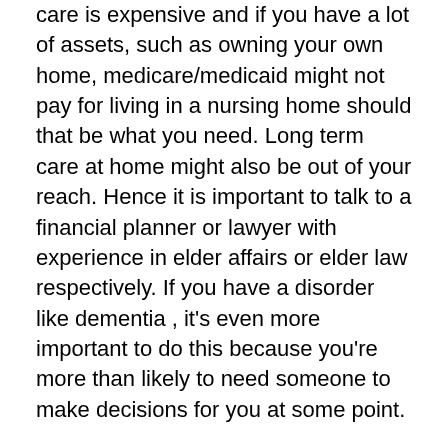care is expensive and if you have a lot of assets, such as owning your own home, medicare/medicaid might not pay for living in a nursing home should that be what you need. Long term care at home might also be out of your reach. Hence it is important to talk to a financial planner or lawyer with experience in elder affairs or elder law respectively. If you have a disorder like dementia , it's even more important to do this because you're more than likely to need someone to make decisions for you at some point.
Elder abuse is also a concern, especially if there are cognitive or  severe mental health issues. This also makes it important to have someone to talk to or know where to go (for more information, go here: National Center on Elder Abuse ).
Thirdly, as I mention above and in my earlier post, be